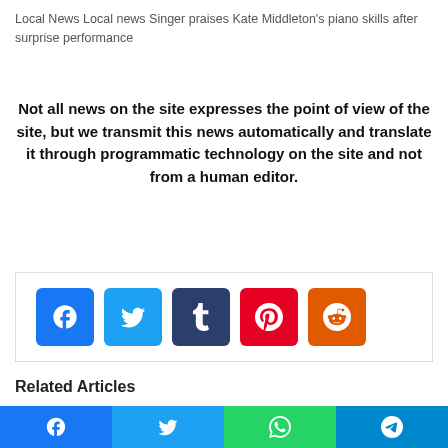Local News Local news Singer praises Kate Middleton's piano skills after surprise performance
Not all news on the site expresses the point of view of the site, but we transmit this news automatically and translate it through programmatic technology on the site and not from a human editor.
[Figure (other): Social media share buttons: Facebook, Twitter, Tumblr, Pinterest, Reddit]
Related Articles
[Figure (other): Bottom navigation bar with Facebook, Twitter, WhatsApp, Telegram share buttons]